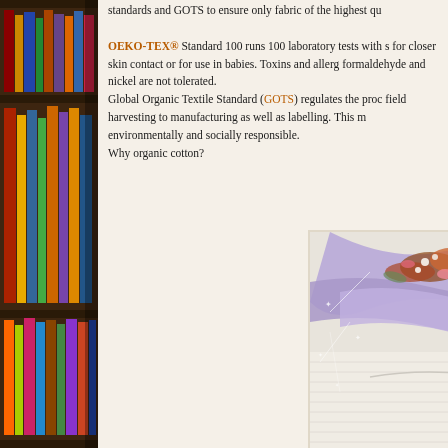[Figure (photo): Decorative bookshelf with colorful books visible on the left side of the page]
standards and GOTS to ensure only fabric of the highest qu...
OEKO-TEX® Standard 100 runs 100 laboratory tests with stricter standards for closer skin contact or for use in babies. Toxins and allergens such as formaldehyde and nickel are not tolerated.
Global Organic Textile Standard (GOTS) regulates the process from field harvesting to manufacturing as well as labelling. This makes it environmentally and socially responsible.
Why organic cotton?
[Figure (photo): Photo of folded cream/off-white knit sweater with lavender/purple fabric wrap and dried flower bouquet on top, with sparkle/star light effects overlaid]